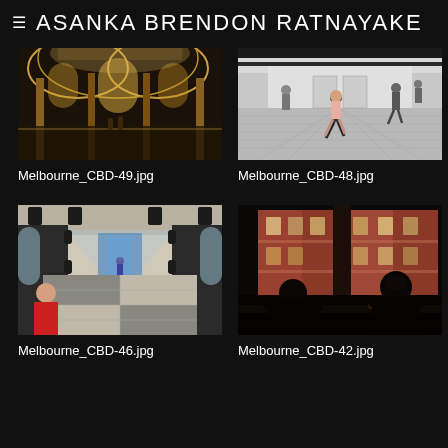ASANKA BRENDON RATNAYAKE
[Figure (photo): Interior of ornate building with arched ceilings, warm golden lighting, wide-angle shot of grand hall]
Melbourne_CBD-49.jpg
[Figure (photo): Interior of a modern building lobby with people walking on reflective floor, monochrome tones]
Melbourne_CBD-48.jpg
[Figure (photo): Long corridor with black and white tiled floor, arched windows, person in red jacket in foreground]
Melbourne_CBD-46.jpg
[Figure (photo): Silhouettes of people in dark interior looking at a lit red brick building exterior through window]
Melbourne_CBD-42.jpg